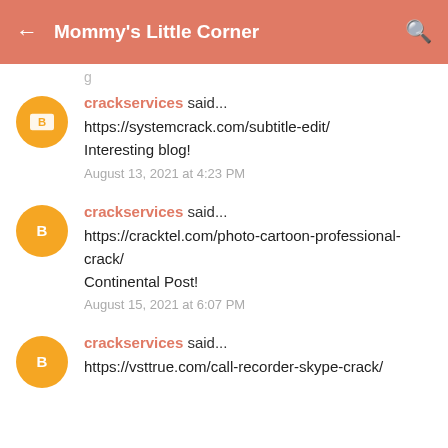Mommy's Little Corner
crackservices said...
https://systemcrack.com/subtitle-edit/
Interesting blog!
August 13, 2021 at 4:23 PM
crackservices said...
https://cracktel.com/photo-cartoon-professional-crack/
Continental Post!
August 15, 2021 at 6:07 PM
crackservices said...
https://vsttrue.com/call-recorder-skype-crack/